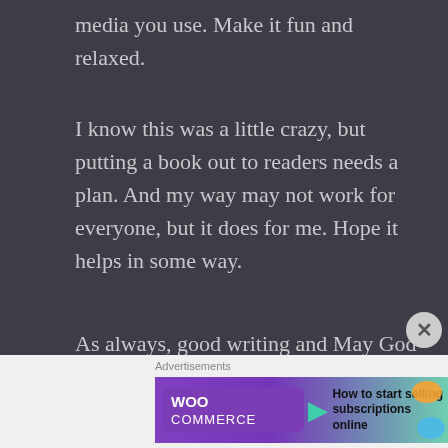media you use. Make it fun and relaxed.
I know this was a little crazy, but putting a book out to readers needs a plan. And my way may not work for everyone, but it does for me. Hope it helps in some way.
As always, good writing and May God Bless You...
[Figure (screenshot): WooCommerce advertisement banner: 'How to start selling subscriptions online']